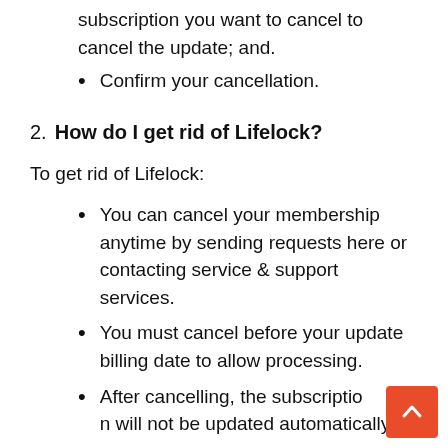subscription you want to cancel to cancel the update; and.
Confirm your cancellation.
2. How do I get rid of Lifelock?
To get rid of Lifelock:
You can cancel your membership anytime by sending requests here or contacting service & support services.
You must cancel before your update billing date to allow processing.
After cancelling, the subscription will not be updated automatically.